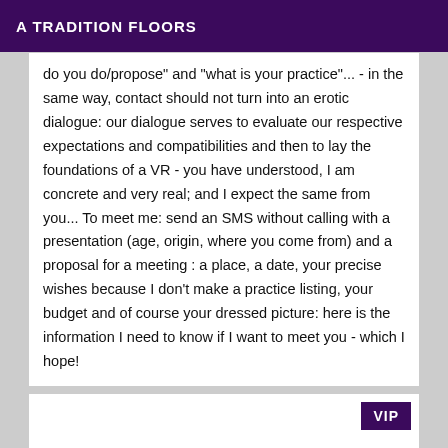A TRADITION FLOORS
do you do/propose" and "what is your practice"... - in the same way, contact should not turn into an erotic dialogue: our dialogue serves to evaluate our respective expectations and compatibilities and then to lay the foundations of a VR - you have understood, I am concrete and very real; and I expect the same from you... To meet me: send an SMS without calling with a presentation (age, origin, where you come from) and a proposal for a meeting : a place, a date, your precise wishes because I don't make a practice listing, your budget and of course your dressed picture: here is the information I need to know if I want to meet you - which I hope!
VIP